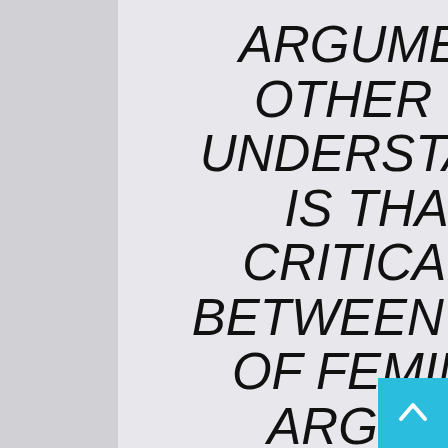ARGUMENT. WHAT THE OTHER SIDE DOESN'T UNDERSTAND, HOWEVER, IS THAT THERE IS A CRITICAL DIFFERENCE BETWEEN THE ARGUMENT OF FEMINISTS AND THE ARGUMENT OF ANTI-VIOLENCE VIDEO GAME CENSORS. FOR THE MOST PART, OUR ARGUMENT IS